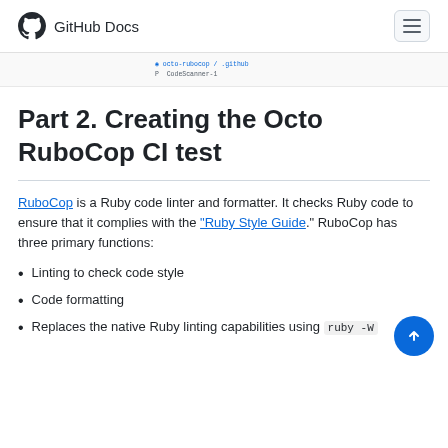GitHub Docs
[Figure (screenshot): Partial screenshot of a GitHub UI snippet showing code/file references]
Part 2. Creating the Octo RuboCop CI test
RuboCop is a Ruby code linter and formatter. It checks Ruby code to ensure that it complies with the "Ruby Style Guide." RuboCop has three primary functions:
Linting to check code style
Code formatting
Replaces the native Ruby linting capabilities using ruby -W